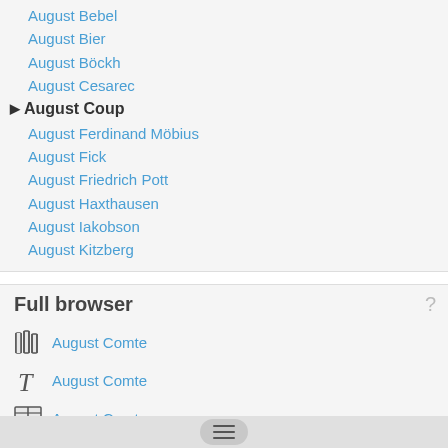August Bebel
August Bier
August Böckh
August Cesarec
► August Coup
August Ferdinand Möbius
August Fick
August Friedrich Pott
August Haxthausen
August Iakobson
August Kitzberg
Full browser
August Comte (books icon)
August Comte (T icon)
August Comte (dictionary icon)
► August Coup
August Coulom... (truncated)